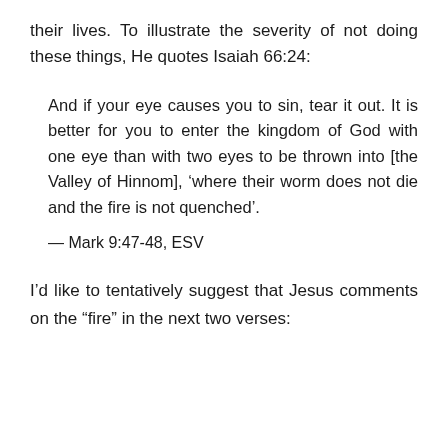their lives. To illustrate the severity of not doing these things, He quotes Isaiah 66:24:
And if your eye causes you to sin, tear it out. It is better for you to enter the kingdom of God with one eye than with two eyes to be thrown into [the Valley of Hinnom], ‘where their worm does not die and the fire is not quenched’.
— Mark 9:47-48, ESV
I’d like to tentatively suggest that Jesus comments on the “fire” in the next two verses: